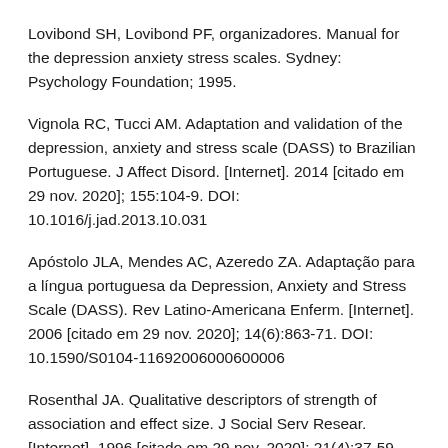Lovibond SH, Lovibond PF, organizadores. Manual for the depression anxiety stress scales. Sydney: Psychology Foundation; 1995.
Vignola RC, Tucci AM. Adaptation and validation of the depression, anxiety and stress scale (DASS) to Brazilian Portuguese. J Affect Disord. [Internet]. 2014 [citado em 29 nov. 2020]; 155:104-9. DOI: 10.1016/j.jad.2013.10.031
Apóstolo JLA, Mendes AC, Azeredo ZA. Adaptação para a língua portuguesa da Depression, Anxiety and Stress Scale (DASS). Rev Latino-Americana Enferm. [Internet]. 2006 [citado em 29 nov. 2020]; 14(6):863-71. DOI: 10.1590/S0104-11692006000600006
Rosenthal JA. Qualitative descriptors of strength of association and effect size. J Social Serv Resear. [Internet]. 1996 [citado em 29 nov. 2020]; 21(4):37-59. DOI: